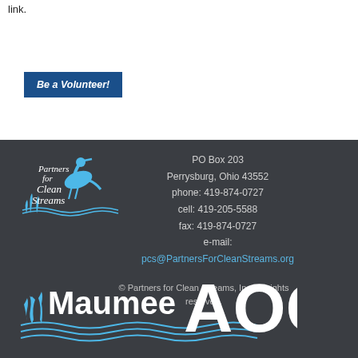link.
Be a Volunteer!
[Figure (logo): Partners for Clean Streams logo with heron and water plants]
PO Box 203
Perrysburg, Ohio 43552
phone: 419-874-0727
cell: 419-205-5588
fax: 419-874-0727
e-mail:
pcs@PartnersForCleanStreams.org
© Partners for Clean Streams, Inc. All rights reserved.
[Figure (logo): Maumee AOC logo with water waves and grass]